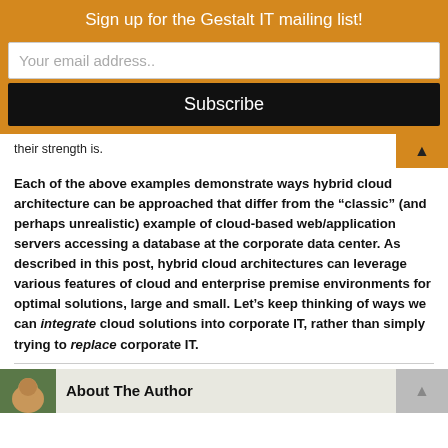Sign up for the Gestalt IT mailing list!
Your email address..
Subscribe
their strength is.
Each of the above examples demonstrate ways hybrid cloud architecture can be approached that differ from the “classic” (and perhaps unrealistic) example of cloud-based web/application servers accessing a database at the corporate data center. As described in this post, hybrid cloud architectures can leverage various features of cloud and enterprise premise environments for optimal solutions, large and small. Let’s keep thinking of ways we can integrate cloud solutions into corporate IT, rather than simply trying to replace corporate IT.
About The Author